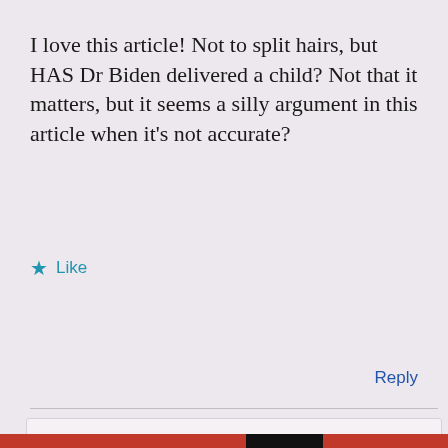I love this article! Not to split hairs, but HAS Dr Biden delivered a child? Not that it matters, but it seems a silly argument in this article when it's not accurate?
★ Like
Reply
Privacy & Cookies: This site uses cookies. By continuing to use this website, you agree to their use. To find out more, including how to control cookies, see here: Cookie Policy
Close and accept